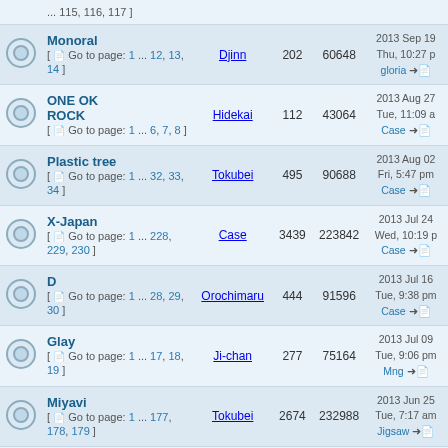|  | Topic | Author | Replies | Views | Last Post |
| --- | --- | --- | --- | --- | --- |
|  | ... 115, 116, 117 ] |  |  |  |  |
|  | Monoral
[ Go to page: 1 ... 12, 13, 14 ] | Djinn | 202 | 60648 | 2013 Sep 19 Thu, 10:27 pm
gloria → |
|  | ONE OK ROCK
[ Go to page: 1 ... 6, 7, 8 ] | Hidekai | 112 | 43064 | 2013 Aug 27 Tue, 11:09 am
Case → |
|  | Plastic tree
[ Go to page: 1 ... 32, 33, 34 ] | Tokubei | 495 | 90688 | 2013 Aug 02 Fri, 5:47 pm
Case → |
|  | X-Japan
[ Go to page: 1 ... 228, 229, 230 ] | Case | 3439 | 223842 | 2013 Jul 24 Wed, 10:19 pm
Case → |
|  | D
[ Go to page: 1 ... 28, 29, 30 ] | Orochimaru | 444 | 91596 | 2013 Jul 16 Tue, 9:38 pm
Case → |
|  | Glay
[ Go to page: 1 ... 17, 18, 19 ] | Ji-chan | 277 | 75164 | 2013 Jul 09 Tue, 9:06 pm
Mng → |
|  | Miyavi
[ Go to page: 1 ... 177, 178, 179 ] | Tokubei | 2674 | 232988 | 2013 Jun 25 Tue, 7:17 am
Jigsaw → |
|  | Dear Dolce
[ Go to page: 1, 2, 3 ] | Manic | 42 | 23944 | 2013 May 02 Thu, 7:17 pm
Case → |
|  | Nookicky, Guniw Tools, Shilfee and |  |  |  | 2013 Apr 21 Sun, 12:17 |